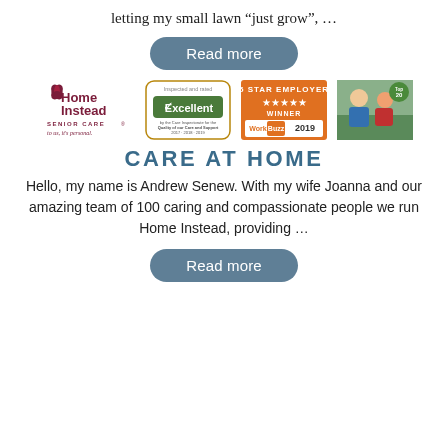letting my small lawn “just grow”, …
Read more
[Figure (logo): Home Instead Senior Care logo, Excellent rating badge by Care Inspectorate, 5 Star Employer WorkBuzz 2019 winner badge, and a photo of an elderly man with a younger woman in a garden]
CARE AT HOME
Hello, my name is Andrew Senew. With my wife Joanna and our amazing team of 100 caring and compassionate people we run Home Instead, providing …
Read more